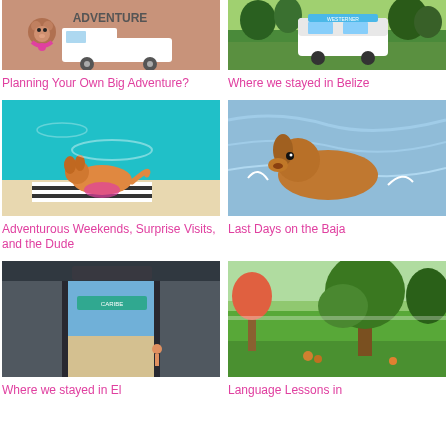[Figure (illustration): Illustrated image of a cartoon bear/hamster character with a truck and 'ADVENTURE' text on a brown/pink background]
[Figure (photo): Photo of a camper/RV truck parked among green trees in Belize]
Planning Your Own Big Adventure?
Where we stayed in Belize
[Figure (photo): Photo of a dog lounging by a pool on a striped chair]
[Figure (photo): Photo of a dog swimming in open water on the Baja]
Adventurous Weekends, Surprise Visits, and the Dude
Last Days on the Baja
[Figure (photo): Photo showing interior of a camper/RV with ocean view through door]
[Figure (photo): Photo of a green lawn with trees and small animals]
Where we stayed in El
Language Lessons in